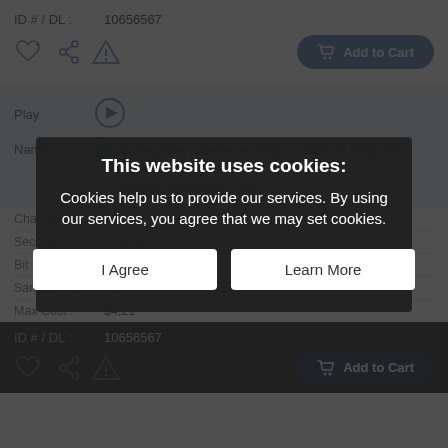ID # / DL : 10656567
[Figure (screenshot): Icons row: heart+, share, warning; Add to Cart button]
| Field | Value |
| --- | --- |
| Play | (play button) |
| Name | Motorcycles | Kawasaki Ninja | | Skid To Stop And Away - Motorcycle
Library: Soundelux - DX |
| Channels | 2 |
| Seconds | 0:00:49 |
| Bit Depth | 16 |
| Sample Rate | 48 |
| Max Cost: | $4.21 |
| ID # / DL : | 10656567 |
This website uses cookies:
Cookies help us to provide our services. By using our services, you agree that we may set cookies.
I Agree
Learn More